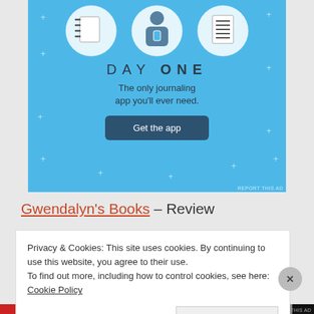[Figure (illustration): Day One journaling app advertisement with blue background, circular icons for notebook and list, a person illustration, app name 'DAY ONE', tagline 'The only journaling app you'll ever need.' and a 'Get the app' button.]
Gwendalyn's Books – Review
Privacy & Cookies: This site uses cookies. By continuing to use this website, you agree to their use.
To find out more, including how to control cookies, see here: Cookie Policy
Close and accept